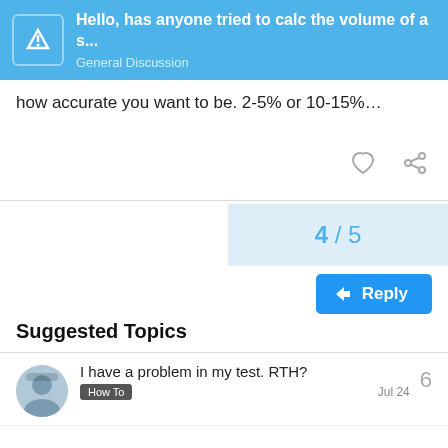Hello, has anyone tried to calc the volume of a s... General Discussion
how accurate you want to be. 2-5% or 10-15%...
4 / 5
Reply
Suggested Topics
I have a problem in my test. RTH? How To  6  Jul 24
DroneDeploy Conference 2022 How To  1  Jul 22
Returning home mid mission for no reason  0